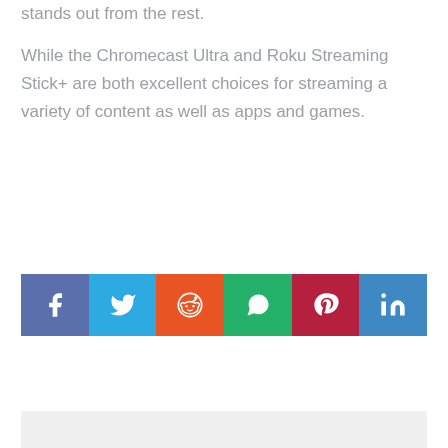stands out from the rest.

While the Chromecast Ultra and Roku Streaming Stick+ are both excellent choices for streaming a variety of content as well as apps and games.
[Figure (other): Social share buttons row: Facebook (dark blue), Twitter (light blue), Reddit (orange), WhatsApp (green), Pinterest (dark red), LinkedIn (blue)]